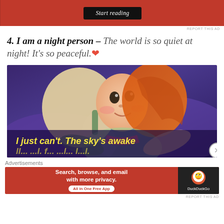[Figure (screenshot): Red advertisement banner with 'Start reading' button in black]
REPORT THIS AD
4. I am a night person – The world is so quiet at night! It's so peaceful. ❤
[Figure (screenshot): Animated scene from Frozen showing young Anna lying down looking up at night sky with caption 'I just can't. The sky's awake']
Advertisements
[Figure (screenshot): DuckDuckGo advertisement: Search, browse, and email with more privacy. All in One Free App]